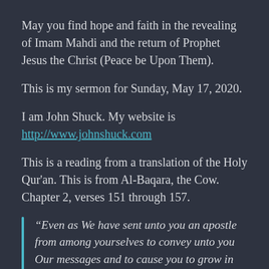May you find hope and faith in the revealing of Imam Mahdi and the return of Prophet Jesus the Christ (Peace be Upon Them).
This is my sermon for Sunday, May 17, 2020.
I am John Shuck. My website is http://www.johnshuck.com
This is a reading from a translation of the Holy Qur'an. This is from Al-Baqara, the Cow. Chapter 2, verses 151 through 157.
“Even as We have sent unto you an apostle from among yourselves to convey unto you Our messages and to cause you to grow in purity, and to impart unto you revelation and wisdom, and to teach you that which you knew not so